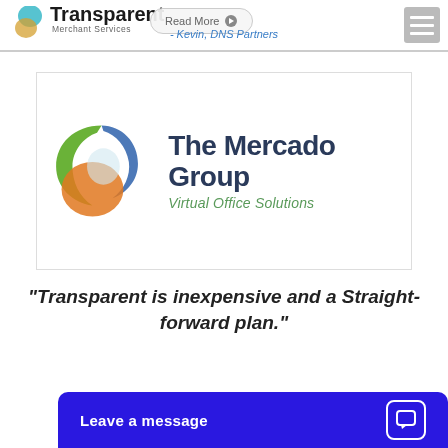[Figure (logo): Transparent Merchant Services logo with colorful overlapping circles icon and company name]
- Kevin, DNS Partners
[Figure (logo): The Mercado Group Virtual Office Solutions logo with interlocking green, blue, and orange ring icon]
"Transparent is inexpensive and a Straight-forward plan."
Leave a message